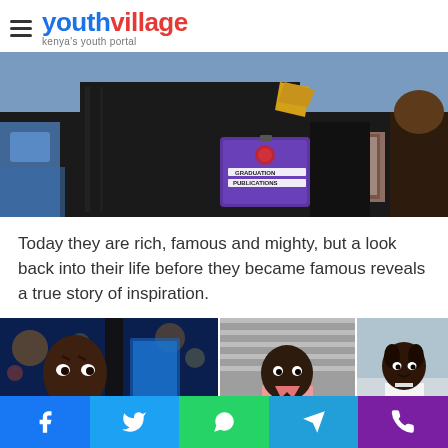youthvillage - kenya's youth portal
[Figure (photo): Graduation ceremony photo showing person in black graduation gown holding a 'Kenyatta University Graduation Publications' booklet, with blue chairs in background]
Today they are rich, famous and mighty, but a look back into their life before they became famous reveals a true story of inspiration.
[Figure (photo): Three side-by-side photos of African children: left shows a young boy in a suit with city backdrop, center shows a young boy in pink shirt standing outdoors, right shows a young girl in white dress outdoors]
Social sharing bar: Facebook, Twitter, WhatsApp, Telegram, Phone